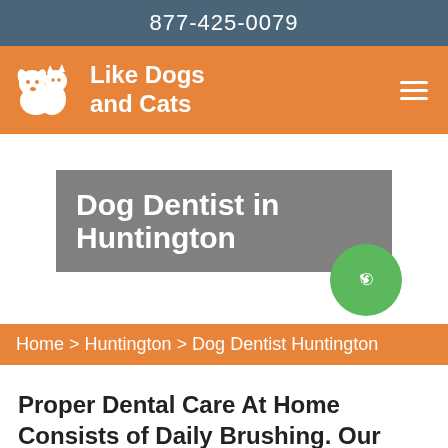877-425-0079
[Figure (logo): Like Dogs and Cats logo with white dog and cat silhouette icon on orange background, with hamburger menu icon on right]
Dog Dentist in Huntington
[Figure (other): Green circular phone call button]
Home > Huntington > Dog Dentist Huntington
Proper Dental Care At Home Consists of Daily Brushing. Our Dog Dentist in Huntington Is The Reputable Dentist For